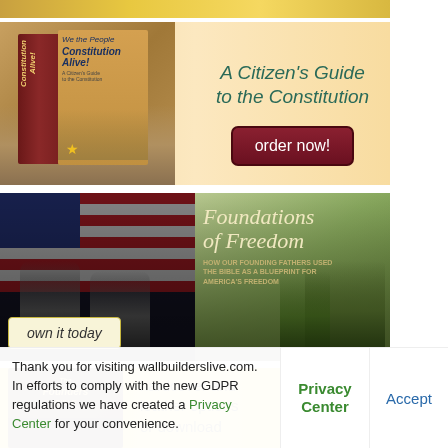[Figure (illustration): Partial golden/yellow banner strip at very top of page]
[Figure (illustration): Advertisement for 'Constitution Alive!' DVD set - A Citizen's Guide to the Constitution with order now button]
[Figure (illustration): Advertisement for 'Foundations of Freedom' DVD showing TV hosts and book cover with 'own it today' button]
[Figure (illustration): Advertisement for Founders Bible showing hardcover and leather options or download with phone image]
Thank you for visiting wallbuilderslive.com. In efforts to comply with the new GDPR regulations we have created a Privacy Center for your convenience.